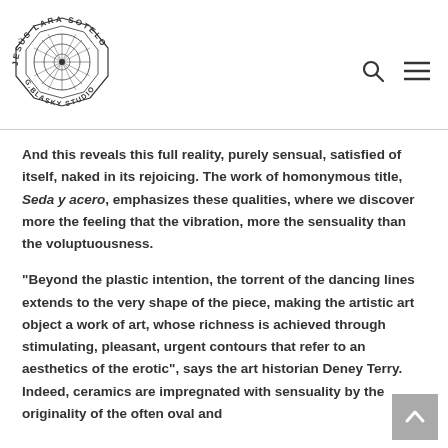[Figure (logo): Jesús Lara Sotelo G.Blasky Studio circular geometric logo with octagonal geometric mandala design and text around the border]
And this reveals this full reality, purely sensual, satisfied of itself, naked in its rejoicing. The work of homonymous title, Seda y acero, emphasizes these qualities, where we discover more the feeling that the vibration, more the sensuality than the voluptuousness.
"Beyond the plastic intention, the torrent of the dancing lines extends to the very shape of the piece, making the artistic art object a work of art, whose richness is achieved through stimulating, pleasant, urgent contours that refer to an aesthetics of the erotic", says the art historian Deney Terry. Indeed, ceramics are impregnated with sensuality by the originality of the often oval and